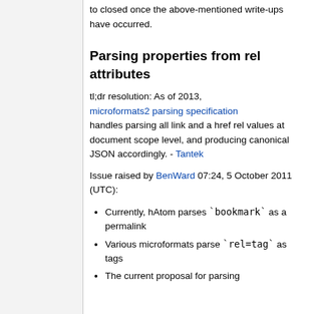to closed once the above-mentioned write-ups have occurred.
Parsing properties from rel attributes
tl;dr resolution: As of 2013, microformats2 parsing specification handles parsing all link and a href rel values at document scope level, and producing canonical JSON accordingly. - Tantek
Issue raised by BenWard 07:24, 5 October 2011 (UTC):
Currently, hAtom parses `bookmark` as a permalink
Various microformats parse `rel=tag` as tags
The current proposal for parsing